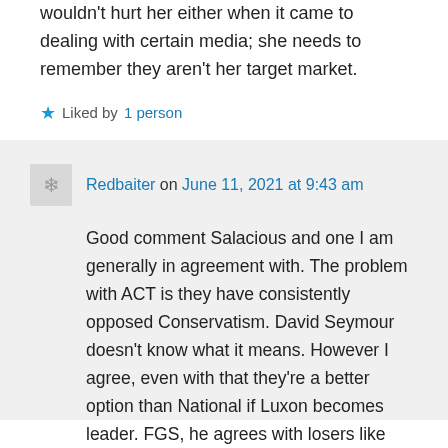wouldn't hurt her either when it came to dealing with certain media; she needs to remember they aren't her target market.
★ Liked by 1 person
Redbaiter on June 11, 2021 at 9:43 am
Good comment Salacious and one I am generally in agreement with. The problem with ACT is they have consistently opposed Conservatism. David Seymour doesn't know what it means. However I agree, even with that they're a better option than National if Luxon becomes leader. FGS, he agrees with losers like Willie Jackson and Peeni Henare. How detached from reality